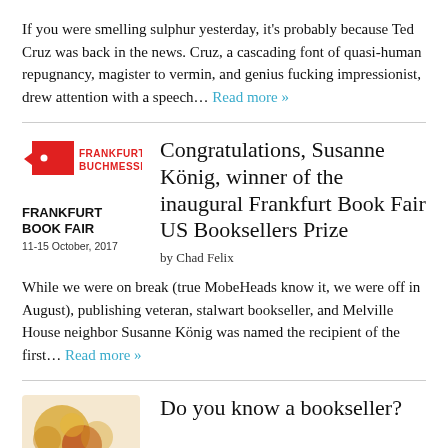If you were smelling sulphur yesterday, it's probably because Ted Cruz was back in the news. Cruz, a cascading font of quasi-human repugnancy, magister to vermin, and genius fucking impressionist, drew attention with a speech… Read more »
[Figure (logo): Frankfurter Buchmesse / Frankfurt Book Fair logo with red bull-head icon, bold text FRANKFURTER BUCHMESSE, bold text FRANKFURT BOOK FAIR, and date 11-15 October, 2017]
Congratulations, Susanne König, winner of the inaugural Frankfurt Book Fair US Booksellers Prize
by Chad Felix
While we were on break (true MobeHeads know it, we were off in August), publishing veteran, stalwart bookseller, and Melville House neighbor Susanne König was named the recipient of the first… Read more »
Do you know a bookseller?